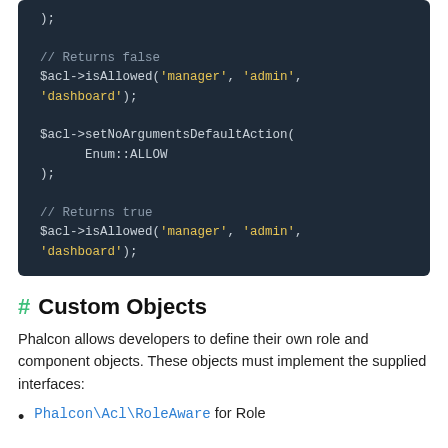[Figure (screenshot): Code block showing PHP ACL usage with setNoArgumentsDefaultAction and isAllowed calls on dark background]
# Custom Objects
Phalcon allows developers to define their own role and component objects. These objects must implement the supplied interfaces:
Phalcon\Acl\RoleAware for Role